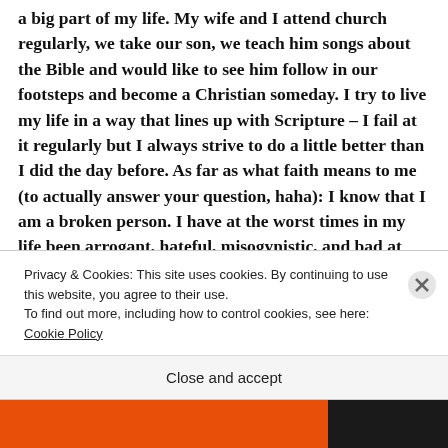a big part of my life. My wife and I attend church regularly, we take our son, we teach him songs about the Bible and would like to see him follow in our footsteps and become a Christian someday. I try to live my life in a way that lines up with Scripture – I fail at it regularly but I always strive to do a little better than I did the day before. As far as what faith means to me (to actually answer your question, haha): I know that I am a broken person. I have at the worst times in my life been arrogant, hateful, misogynistic, and bad at decision-
Privacy & Cookies: This site uses cookies. By continuing to use this website, you agree to their use. To find out more, including how to control cookies, see here: Cookie Policy
Close and accept